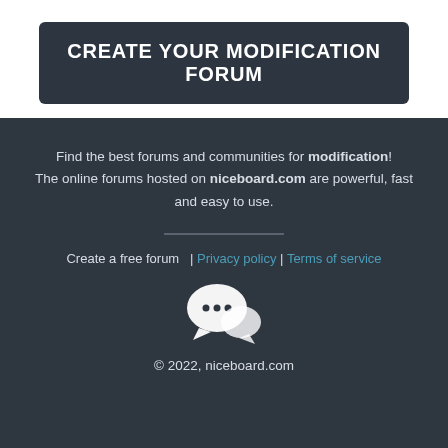CREATE YOUR MODIFICATION FORUM
Find the best forums and communities for modification! The online forums hosted on niceboard.com are powerful, fast and easy to use.
Create a free forum  | Privacy policy | Terms of service
[Figure (illustration): White speech bubble / forum icon on dark background]
© 2022, niceboard.com